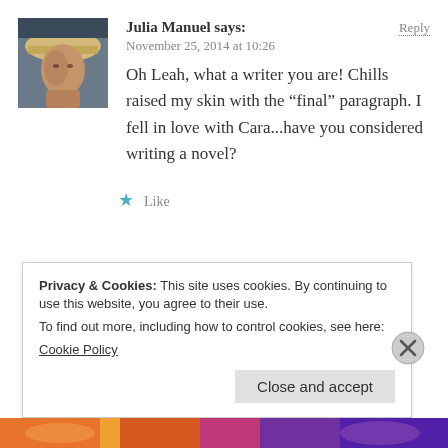[Figure (photo): Avatar photo of Julia Manuel, a woman wearing a hat, outdoors]
Julia Manuel says:
Reply
November 25, 2014 at 10:26
Oh Leah, what a writer you are! Chills raised my skin with the “final” paragraph. I fell in love with Cara...have you considered writing a novel?
Like
Privacy & Cookies: This site uses cookies. By continuing to use this website, you agree to their use.
To find out more, including how to control cookies, see here:
Cookie Policy
Close and accept